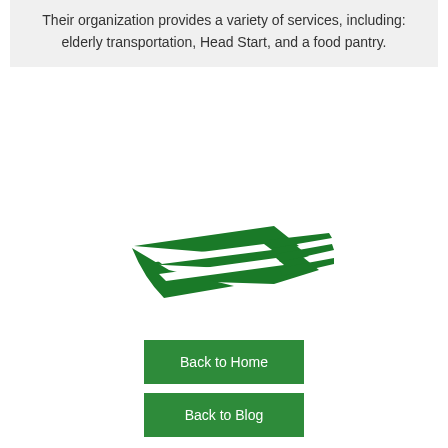Their organization provides a variety of services, including: elderly transportation, Head Start, and a food pantry.
[Figure (logo): Green stylized bird or wing logo mark made of layered curved green shapes pointing right]
Back to Home
Back to Blog